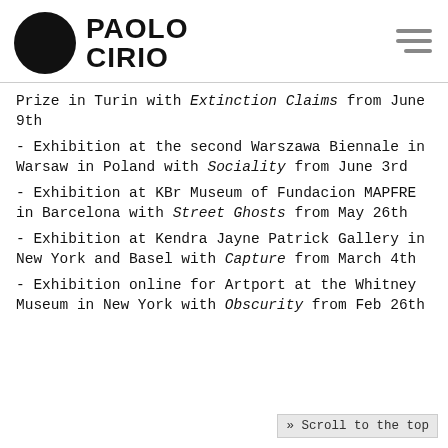PAOLO CIRIO
Prize in Turin with Extinction Claims from June 9th
- Exhibition at the second Warszawa Biennale in Warsaw in Poland with Sociality from June 3rd
- Exhibition at KBr Museum of Fundacion MAPFRE in Barcelona with Street Ghosts from May 26th
- Exhibition at Kendra Jayne Patrick Gallery in New York and Basel with Capture from March 4th
- Exhibition online for Artport at the Whitney Museum in New York with Obscurity from Feb 26th
» Scroll to the top